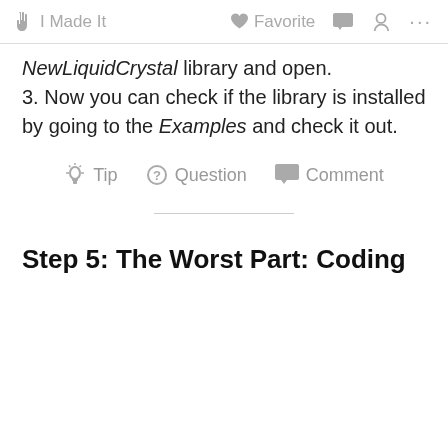✋ I Made It   ♥ Favorite  💬  ⋯
NewLiquidCrystal library and open.
3. Now you can check if the library is installed by going to the Examples and check it out.
💡 Tip   ❓ Question   💬 Comment
Step 5: The Worst Part: Coding